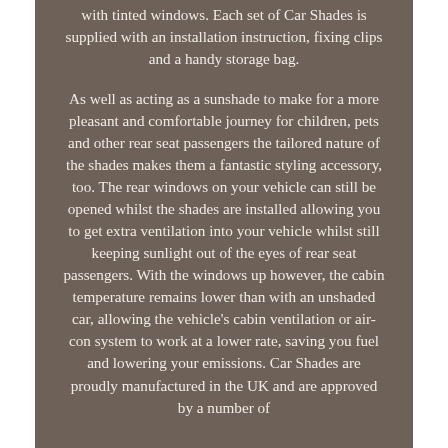with tinted windows. Each set of Car Shades is supplied with an installation instruction, fixing clips and a handy storage bag.

As well as acting as a sunshade to make for a more pleasant and comfortable journey for children, pets and other rear seat passengers the tailored nature of the shades makes them a fantastic styling accessory, too. The rear windows on your vehicle can still be opened whilst the shades are installed allowing you to get extra ventilation into your vehicle whilst still keeping sunlight out of the eyes of rear seat passengers. With the windows up however, the cabin temperature remains lower than with an unshaded car, allowing the vehicle's cabin ventilation or air-con system to work at a lower rate, saving you fuel and lowering your emissions. Car Shades are proudly manufactured in the UK and are approved by a number of